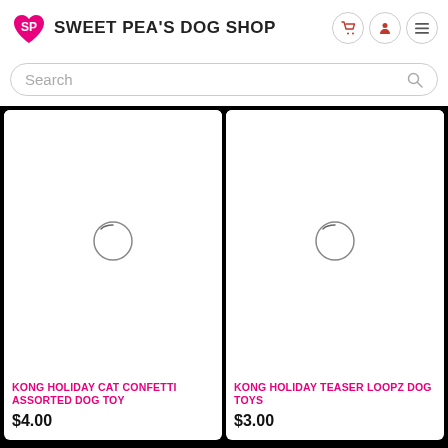SWEET PEA'S DOG SHOP
Search
KONG HOLIDAY CAT CONFETTI ASSORTED DOG TOY
$4.00
KONG HOLIDAY TEASER LOOPZ DOG TOYS
$3.00